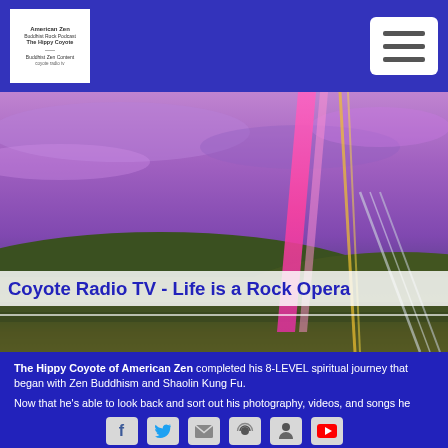[Figure (logo): Coyote Radio / American Zen logo in white box]
[Figure (illustration): Colorful abstract landscape banner with purple sky, pink vertical streaks, green hills — hero image for Coyote Radio TV website]
Coyote Radio TV - Life is a Rock Opera
The Hippy Coyote of American Zen completed his 8-LEVEL spiritual journey that began with Zen Buddhism and Shaolin Kung Fu.

Now that he's able to look back and sort out his photography, videos, and songs he wrote... we can create MUSIC VIDEOS, PODCASTS, and this website, www.CoyoteRadio.TV to enlighten the world with what he learned on the American Zen 8-LEVEL spiritual journey as the frontman, poet, lyricist, guitarist and flutist of America's First Buddhist Rock Band™.
[Figure (infographic): Row of six social media icon buttons (Facebook, Twitter, envelope/email, podcast/sound, person icon, YouTube) on blue background]